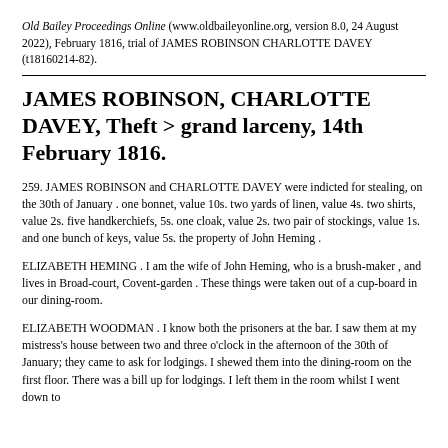Old Bailey Proceedings Online (www.oldbaileyonline.org, version 8.0, 24 August 2022), February 1816, trial of JAMES ROBINSON CHARLOTTE DAVEY (t18160214-82).
JAMES ROBINSON, CHARLOTTE DAVEY, Theft > grand larceny, 14th February 1816.
259. JAMES ROBINSON and CHARLOTTE DAVEY were indicted for stealing, on the 30th of January . one bonnet, value 10s. two yards of linen, value 4s. two shirts, value 2s. five handkerchiefs, 5s. one cloak, value 2s. two pair of stockings, value 1s. and one bunch of keys, value 5s. the property of John Heming .
ELIZABETH HEMING . I am the wife of John Heming, who is a brush-maker , and lives in Broad-court, Covent-garden . These things were taken out of a cup-board in our dining-room.
ELIZABETH WOODMAN . I know both the prisoners at the bar. I saw them at my mistress's house between two and three o'clock in the afternoon of the 30th of January; they came to ask for lodgings. I shewed them into the dining-room on the first floor. There was a bill up for lodgings. I left them in the room whilst I went down to